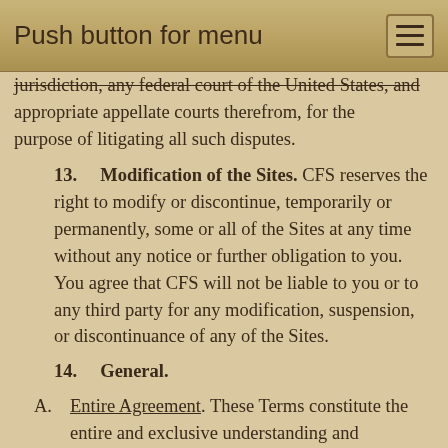Push button for menu
jurisdiction, any federal court of the United States, and appropriate appellate courts therefrom, for the purpose of litigating all such disputes.
13. Modification of the Sites. CFS reserves the right to modify or discontinue, temporarily or permanently, some or all of the Sites at any time without any notice or further obligation to you. You agree that CFS will not be liable to you or to any third party for any modification, suspension, or discontinuance of any of the Sites.
14. General.
A. Entire Agreement. These Terms constitute the entire and exclusive understanding and agreement between you and CFS regarding your use of and access to the Sites, and except as expressly permitted